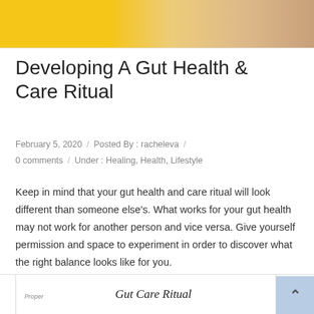[Figure (photo): Top banner image with yellow background and a person with arms crossed wearing a watch]
Developing A Gut Health & Care Ritual
February 5, 2020 / Posted By : racheleva / 0 comments / Under : Healing, Health, Lifestyle
Keep in mind that your gut health and care ritual will look different than someone else's. What works for your gut health may not work for another person and vice versa. Give yourself permission and space to experiment in order to discover what the right balance looks like for you.
[Figure (infographic): Gut Care Ritual infographic card with title text and Proper label]